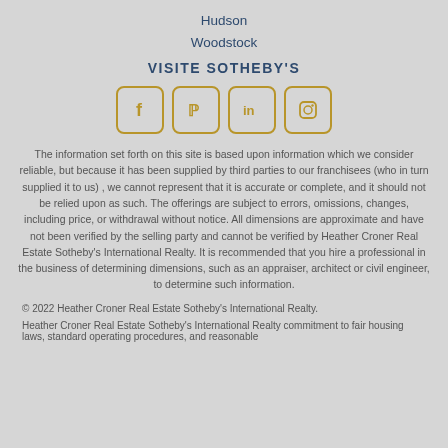Hudson
Woodstock
VISITE SOTHEBY'S
[Figure (infographic): Four social media icon buttons in rounded square borders (gold/yellow): Facebook, Pinterest, LinkedIn, Instagram]
The information set forth on this site is based upon information which we consider reliable, but because it has been supplied by third parties to our franchisees (who in turn supplied it to us) , we cannot represent that it is accurate or complete, and it should not be relied upon as such. The offerings are subject to errors, omissions, changes, including price, or withdrawal without notice. All dimensions are approximate and have not been verified by the selling party and cannot be verified by Heather Croner Real Estate Sotheby's International Realty. It is recommended that you hire a professional in the business of determining dimensions, such as an appraiser, architect or civil engineer, to determine such information.
© 2022 Heather Croner Real Estate Sotheby's International Realty.
Heather Croner Real Estate Sotheby's International Realty commitment to fair housing laws, standard operating procedures, and reasonable